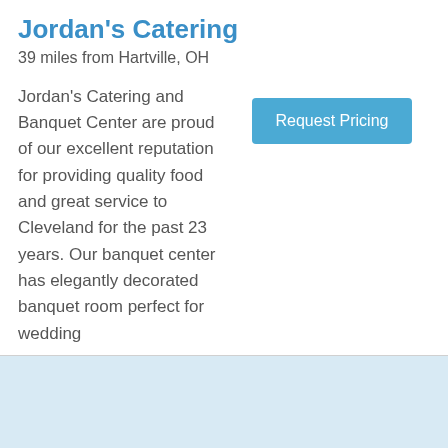Jordan's Catering
39 miles from Hartville, OH
Request Pricing
Jordan's Catering and Banquet Center are proud of our excellent reputation for providing quality food and great service to Cleveland for the past 23 years. Our banquet center has elegantly decorated banquet room perfect for wedding
[Figure (other): Light blue placeholder image area]
Olive & Twist 216